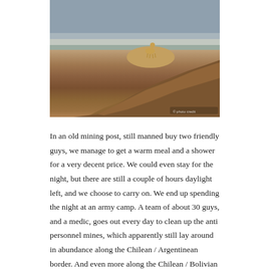[Figure (photo): A photograph showing a large mound of reddish-brown dirt or earth in an arid landscape. A small animal (possibly a llama or vicuña) stands at the top of the mound. The background shows a flat, desert-like terrain with what appears to be salt flats or dry land.]
In an old mining post, still manned buy two friendly guys, we manage to get a warm meal and a shower for a very decent price. We could even stay for the night, but there are still a couple of hours daylight left, and we choose to carry on. We end up spending the night at an army camp. A team of about 30 guys, and a medic, goes out every day to clean up the anti personnel mines, which apparently still lay around in abundance along the Chilean / Argentinean border. And even more along the Chilean / Bolivian border, the soldiers tell me. I don't know whether that's a